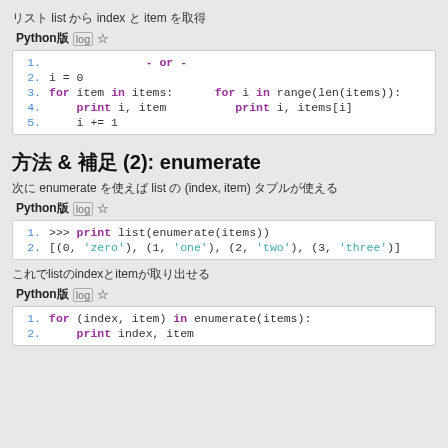リスト list から index と item を取得
Python版 log ☆
[Figure (screenshot): Python code showing two ways to get index and item from a list: using counter variable vs range(len(items))]
方法 & 補足 (2): enumerate
次に enumerate を使えば list の (index, item) タプルが使える
Python版 log ☆
[Figure (screenshot): Python code: >>> print list(enumerate(items)) outputs [(0, 'zero'), (1, 'one'), (2, 'two'), (3, 'three')]]
これでlistのindexとitemが取り出せる
Python版 log ☆
[Figure (screenshot): Python code: for (index, item) in enumerate(items):]